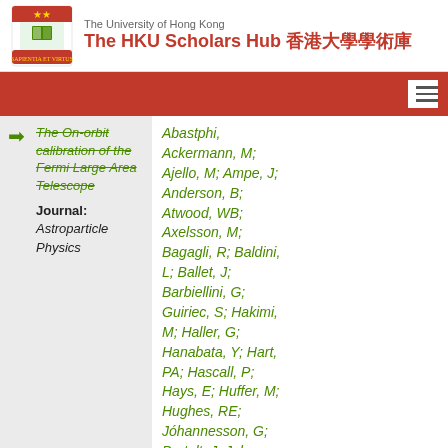The University of Hong Kong — The HKU Scholars Hub 香港大學學術庫
of the Fermi Large Area Telescope
Journal: Astroparticle Physics
Abastphi, Ackermann, M; Ajello, M; Ampe, J; Anderson, B; Atwood, WB; Axelsson, M; Bagagli, R; Baldini, L; Ballet, J; Barbiellini, G; Guiriec, S; Hakimi, M; Haller, G; Hanabata, Y; Hart, PA; Hascall, P; Hays, E; Huffer, M; Hughes, RE; Jóhannesson, G; Bartelt, J; Johnson, AS; Johnson, RP;